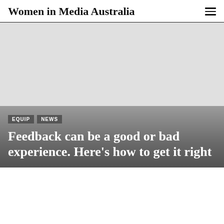Women in Media Australia
[Figure (photo): Large hero image area, mostly blank/light grey, with a gradient overlay at the bottom transitioning to a dark grey tone. Tags and article title overlay the bottom portion.]
EQUIP
NEWS
Feedback can be a good or bad experience. Here’s how to get it right